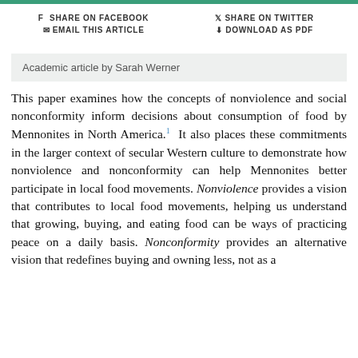SHARE ON FACEBOOK  SHARE ON TWITTER  EMAIL THIS ARTICLE  DOWNLOAD AS PDF
Academic article by Sarah Werner
This paper examines how the concepts of nonviolence and social nonconformity inform decisions about consumption of food by Mennonites in North America.1  It also places these commitments in the larger context of secular Western culture to demonstrate how nonviolence and nonconformity can help Mennonites better participate in local food movements. Nonviolence provides a vision that contributes to local food movements, helping us understand that growing, buying, and eating food can be ways of practicing peace on a daily basis. Nonconformity provides an alternative vision that redefines buying and owning less, not as a